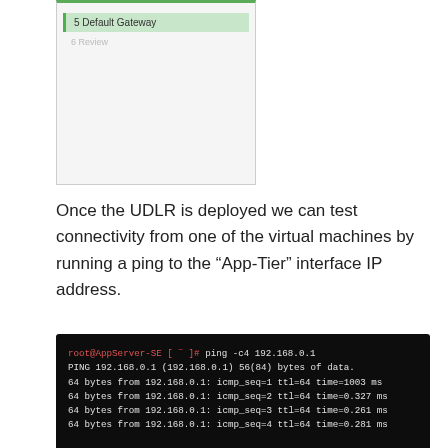[Figure (screenshot): Partial screenshot of a UI menu showing '5. Default Gateway' selected (highlighted in green) and '6. Review' below it, on a light gray panel with a green left border.]
Once the UDLR is deployed we can test connectivity from one of the virtual machines by running a ping to the “App-Tier” interface IP address.
[Figure (screenshot): Terminal screenshot showing a ping command on a black background. Command: root@AppServer-SE [ ~ ]# ping -c4 192.168.0.1. Output: PING 192.168.0.1 (192.168.0.1) 56(84) bytes of data. 64 bytes from 192.168.0.1: icmp_seq=1 ttl=64 time=1003 ms. 64 bytes from 192.168.0.1: icmp_seq=2 ttl=64 time=0.327 ms. 64 bytes from 192.168.0.1: icmp_seq=3 ttl=64 time=0.261 ms. 64 bytes from 192.168.0.1: icmp_seq=4 ttl=64 time=0.281 ms. --- 192.168.0.1 ping statistics --- 4 packets transmitted, 4 received, 0% packet loss, time 59ms. rtt min/avg/max/mdev = 0.261/250.904/1002.748/434.077 ms. root@AppServer-SE [ ~ ]#]
That should work as expected. Let’s add another universal logical switch to the environment so we can